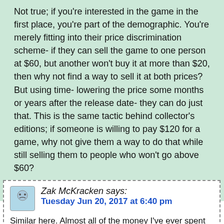Not true; if you're interested in the game in the first place, you're part of the demographic. You're merely fitting into their price discrimination scheme- if they can sell the game to one person at $60, but another won't buy it at more than $20, then why not find a way to sell it at both prices? But using time- lowering the price some months or years after the release date- they can do just that. This is the same tactic behind collector's editions; if someone is willing to pay $120 for a game, why not give them a way to do that while still selling them to people who won't go above $60?
Reply
Zak McKracken says: Tuesday Jun 20, 2017 at 6:40 pm
Similar here. Almost all of the money I've ever spent on games was below 20â,¬ per game.